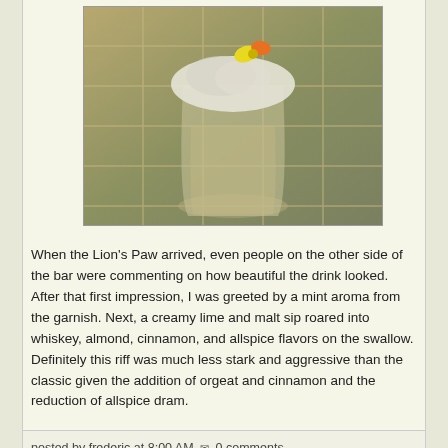[Figure (photo): A cocktail drink in a glass with crushed ice and a flower garnish, set on a tiled surface. The drink appears to be the Lion's Paw cocktail with a creamy/pale yellow color.]
When the Lion's Paw arrived, even people on the other side of the bar were commenting on how beautiful the drink looked. After that first impression, I was greeted by a mint aroma from the garnish. Next, a creamy lime and malt sip roared into whiskey, almond, cinnamon, and allspice flavors on the swallow. Definitely this riff was much less stark and aggressive than the classic given the addition of orgeat and cinnamon and the reduction of allspice dram.
posted by frederic at 8:00 AM  0 comments
ingredients: #sichuan-garden2, lime juice, orgeat, pimento dram, simple syrup (cinnamon), whiskey (Bourbon)